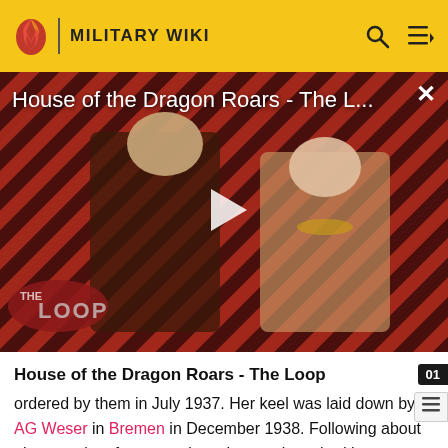MILITARY WIKI
[Figure (screenshot): Video thumbnail for 'House of the Dragon Roars - The L...' showing two characters in medieval fantasy costumes against a diagonal red and dark stripe background, with a play button overlay and 'THE LOOP' badge in the lower left. An X close button appears in the top right corner.]
House of the Dragon Roars - The Loop
ordered by them in July 1937. Her keel was laid down by AG Weser in Bremen in December 1938. Following about nine months of construction, she was launched in